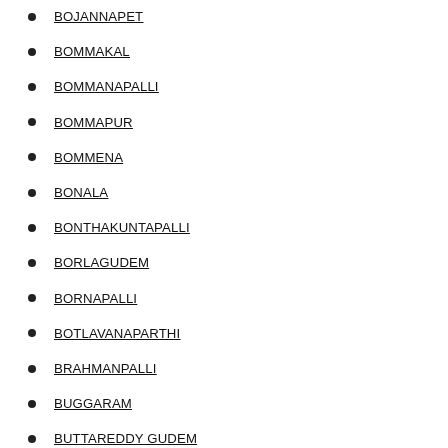BOJANNAPET
BOMMAKAL
BOMMANAPALLI
BOMMAPUR
BOMMENA
BONALA
BONTHAKUNTAPALLI
BORLAGUDEM
BORNAPALLI
BOTLAVANAPARTHI
BRAHMANPALLI
BUGGARAM
BUTTAREDDY GUDEM
CENTINARY COLONY
CHAKUNTA